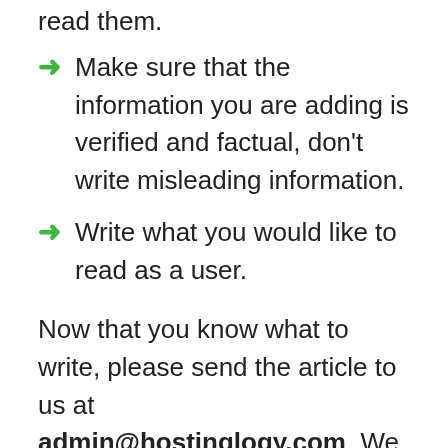read them.
Make sure that the information you are adding is verified and factual, don't write misleading information.
Write what you would like to read as a user.
Now that you know what to write, please send the article to us at admin@hostinglogy.com. We will review the article and get back to you as soon as